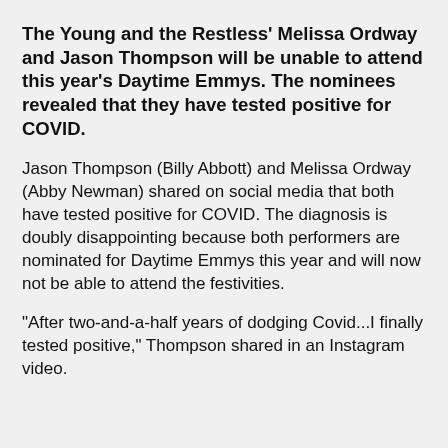The Young and the Restless' Melissa Ordway and Jason Thompson will be unable to attend this year's Daytime Emmys. The nominees revealed that they have tested positive for COVID.
Jason Thompson (Billy Abbott) and Melissa Ordway (Abby Newman) shared on social media that both have tested positive for COVID. The diagnosis is doubly disappointing because both performers are nominated for Daytime Emmys this year and will now not be able to attend the festivities.
"After two-and-a-half years of dodging Covid...I finally tested positive," Thompson shared in an Instagram video.